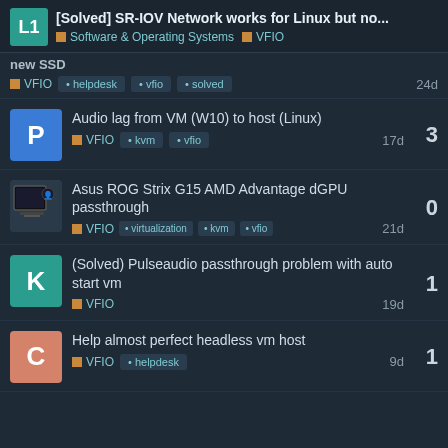[Solved] SR-IOV Network works for Linux but no... | Software & Operating Systems | VFIO
new SSD — VFIO • helpdesk • vfio • solved — 24d
Audio lag from VM (W10) to host (Linux) — VFIO • kvm • vfio — 3 replies — 17d
Asus ROG Strix G15 AMD Advantage dGPU passthrough — VFIO • virtualization • kvm • vfio — 0 replies — 21d
(Solved) Pulseaudio passthrough problem with auto start vm — VFIO — 1 reply — 19d
Help almost perfect headless vm host — VFIO • helpdesk — 1 reply — 9d